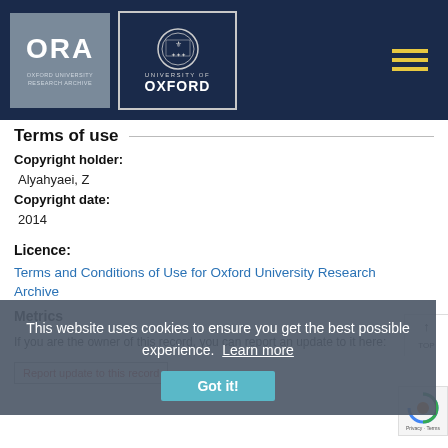[Figure (logo): ORA Oxford University Research Archive logo and University of Oxford crest logo on dark navy header bar with hamburger menu icon]
Terms of use
Copyright holder:
Alyahyaei, Z
Copyright date:
2014
Licence:
Terms and Conditions of Use for Oxford University Research Archive
Metrics
If you are the owner of this record, you can report an update to it here:
Report update to this record
This website uses cookies to ensure you get the best possible experience.  Learn more
Got it!